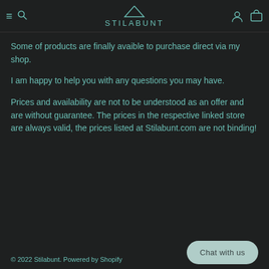STILABUNT
Some of products are finally avaible to purchase direct via my shop.
I am happy to help you with any questions you may have.
Prices and availability are not to be understood as an offer and are without guarantee. The prices in the respective linked store are always valid, the prices listed at Stilabunt.com are not binding!
© 2022 Stilabunt. Powered by Shopify
Chat with us